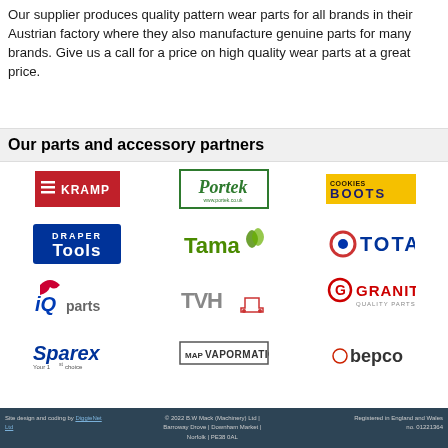Our supplier produces quality pattern wear parts for all brands in their Austrian factory where they also manufacture genuine parts for many brands. Give us a call for a price on high quality wear parts at a great price.
Our parts and accessory partners
[Figure (logo): KRAMP logo - red background with white text and double arrow icon]
[Figure (logo): Portek logo - green italic text in green border box with website]
[Figure (logo): Cookies Boots logo - yellow background with brand name]
[Figure (logo): Draper Tools logo - blue badge with white text]
[Figure (logo): Tama logo - green text with leaf motif]
[Figure (logo): Total logo - blue text with red and blue circle]
[Figure (logo): iQ parts logo - blue italic iQ with parts text and hat icon]
[Figure (logo): TVH logo - grey bold text with truck icon]
[Figure (logo): Granit Quality Parts logo - red circle G with red text]
[Figure (logo): Sparex Your 1st choice logo - blue italic text]
[Figure (logo): Vapormatic logo - grey text in border box with MAP prefix]
[Figure (logo): Bepco logo - dark text with tractor icon]
Site design and coding by DiggieNet Ltd  © 2022 B.W Mack (Machinery) Ltd | Barroway Drove | Downham Market | Norfolk | PE38 0AL  Registered in England and Wales no. 01221364